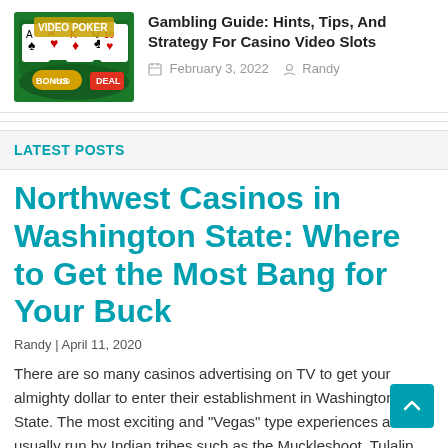[Figure (screenshot): Thumbnail image of a video poker casino game with cards and bonus text on green background]
Gambling Guide: Hints, Tips, And Strategy For Casino Video Slots
February 3, 2022   Randy
LATEST POSTS
Northwest Casinos in Washington State: Where to Get the Most Bang for Your Buck
Randy | April 11, 2020
There are so many casinos advertising on TV to get your almighty dollar to enter their establishment in Washington State. The most exciting and "Vegas" type experiences are usually run by Indian tribes such as the Muckleshoot, Tulalip, and Snoqualmie tribes. If I'm going